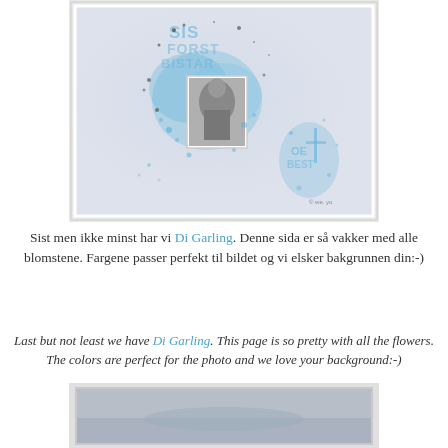[Figure (photo): Scrapbook page with blue splatter/paint background, stenciled text, and a central black-and-white photo of a person, with blue ink splatter art and decorative elements on a light pink/white background.]
Sist men ikke minst har vi Di Garling. Denne sida er så vakker med alle blomstene. Fargene passer perfekt til bildet og vi elsker bakgrunnen din:-)
Last but not least we have Di Garling. This page is so pretty with all the flowers. The colors are perfect for the photo and we love your background:-)
[Figure (photo): Partial view of another scrapbook page at the bottom, showing a landscape or artistic layout with muted colors.]